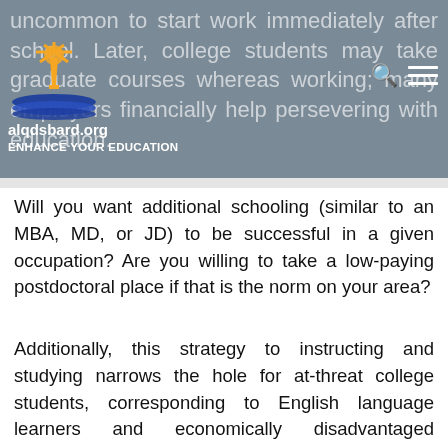uncommon to start work immediately after school. Later, college students may take graduate courses whereas working; many employers financially help persevering with education.
alqdsbard.org
ENHANCE YOUR EDUCATION
Will you want additional schooling (similar to an MBA, MD, or JD) to be successful in a given occupation? Are you willing to take a low-paying postdoctoral place if that is the norm on your area?
Additionally, this strategy to instructing and studying narrows the hole for at-threat college students, corresponding to English language learners and economically disadvantaged students. As teachers, librarians and different academic services professionals retire within